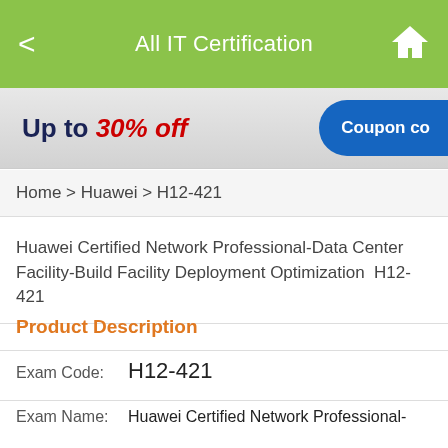All IT Certification
[Figure (infographic): Promotional banner: Up to 30% off with Coupon code button]
Home > Huawei > H12-421
Huawei Certified Network Professional-Data Center Facility-Build Facility Deployment Optimization H12-421
Product Description
Exam Code: H12-421
Exam Name: Huawei Certified Network Professional-